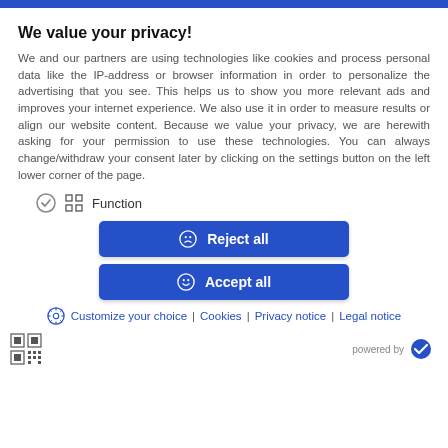We value your privacy!
We and our partners are using technologies like cookies and process personal data like the IP-address or browser information in order to personalize the advertising that you see. This helps us to show you more relevant ads and improves your internet experience. We also use it in order to measure results or align our website content. Because we value your privacy, we are herewith asking for your permission to use these technologies. You can always change/withdraw your consent later by clicking on the settings button on the left lower corner of the page.
Function
Reject all
Accept all
Customize your choice | Cookies | Privacy notice | Legal notice
powered by